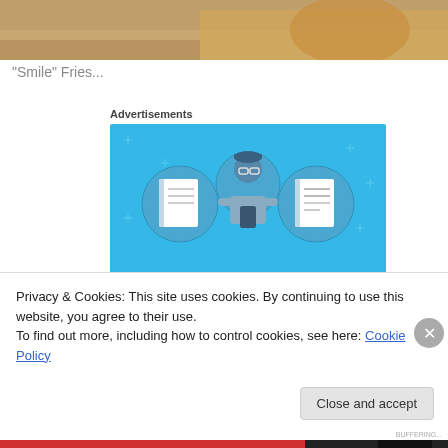[Figure (photo): Top portion of a photo showing food items (likely fries) with a warm brownish background — partially cropped.]
"Smile" Fries...
Advertisements
[Figure (illustration): Day One journaling app advertisement. Blue background with illustration of a person holding a phone, flanked by two notebook icons in circles. Text reads: DAY ONE — The only journaling app you'll ever need.]
Privacy & Cookies: This site uses cookies. By continuing to use this website, you agree to their use.
To find out more, including how to control cookies, see here: Cookie Policy
Close and accept